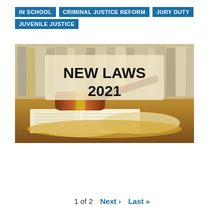IN SCHOOL
CRIMINAL JUSTICE REFORM
JURY DUTY
JUVENILE JUSTICE
[Figure (photo): Photo of a judge's gavel resting on an open book, with law books in the background and bold text overlay reading 'NEW LAWS 2021']
1 of 2   Next ›   Last »